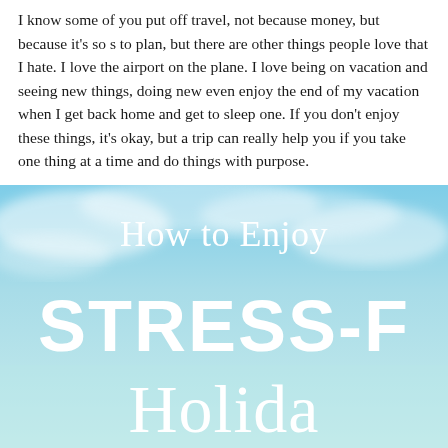I know some of you put off travel, not because money, but because it's so s... to plan, but there are other things people love that I hate. I love the airport on the plane. I love being on vacation and seeing new things, doing new even enjoy the end of my vacation when I get back home and get to sleep one. If you don't enjoy these things, it's okay, but a trip can really help you if you take one thing at a time and do things with purpose.
[Figure (illustration): An image with a blue sky and clouds background featuring white text reading 'How to Enjoy STRESS-F[REE] Holida[ys]' — the right side of the image is cropped off.]